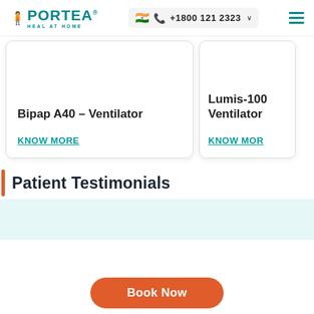[Figure (logo): Portea Medical logo with tagline HEAL AT HOME]
+1800 121 2323
[Figure (other): Card: Bipap A40 - Ventilator with KNOW MORE link]
[Figure (other): Card: Lumis-100 Ventilator with KNOW MORE link (partially visible)]
Patient Testimonials
[Figure (other): Light blue testimonials content area]
Book Now